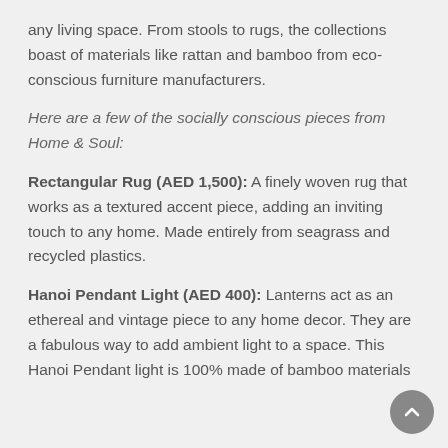any living space. From stools to rugs, the collections boast of materials like rattan and bamboo from eco-conscious furniture manufacturers.
Here are a few of the socially conscious pieces from Home & Soul:
Rectangular Rug (AED 1,500): A finely woven rug that works as a textured accent piece, adding an inviting touch to any home. Made entirely from seagrass and recycled plastics.
Hanoi Pendant Light (AED 400): Lanterns act as an ethereal and vintage piece to any home decor. They are a fabulous way to add ambient light to a space. This Hanoi Pendant light is 100% made of bamboo materials